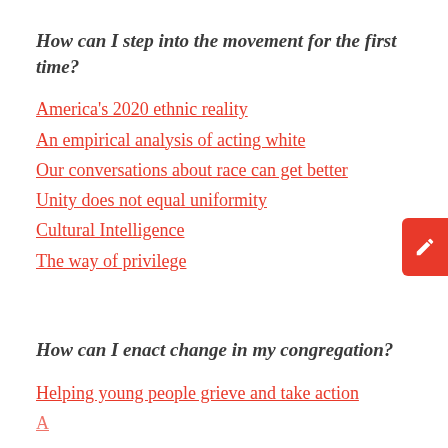How can I step into the movement for the first time?
America's 2020 ethnic reality
An empirical analysis of acting white
Our conversations about race can get better
Unity does not equal uniformity
Cultural Intelligence
The way of privilege
How can I enact change in my congregation?
Helping young people grieve and take action